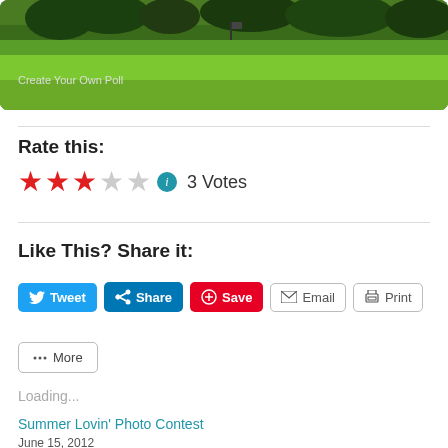[Figure (photo): Green field/farmland with trees in background, partial view of a landscape photo with rounded bottom corners]
Create Your Own Poll
Rate this:
3 Votes
Like This? Share it:
Tweet Share Save Email Print More
Loading...
Summer Lovin' Photo Contest
June 15, 2012
In "Christian Marriage"